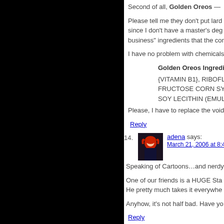Second of all, Golden Oreos —
Please tell me they don't put lard since I don't have a master's deg business" ingredients that the con
I have no problem with chemicals
Golden Oreos Ingredier
{VITAMIN B1}, RIBOFLA FRUCTOSE CORN SYR SOY LECITHIN (EMULS
Please, I have to replace the void
Reply
14. adena says: March 21, 2006 at 8:44 a
Speaking of Cartoons…and nerdy
One of our friends is a HUGE Sta He pretty much takes it everywhe
Anyhow, it's not half bad. Have yo
Reply
15. ms. sizzle says: March 21, 2006 at 9:25 a
is it just me or does your title "stea